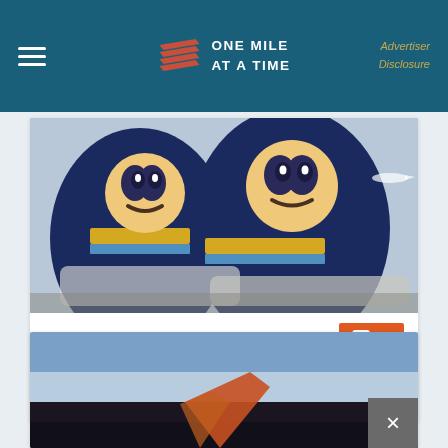ONE MILE AT A TIME | Advertiser Disclosure
[Figure (photo): Alaska Airlines aircraft tails showing the iconic Eskimo face logo in blue and gold livery, multiple planes on tarmac]
November 24, 2020 | Ben Schlappig
Alaska Airlines Swaps A320s For 737 MAXs
[Figure (photo): Partial view of an aircraft tail or wing against a blue sky, lower portion obscured by dark overlay with close button]